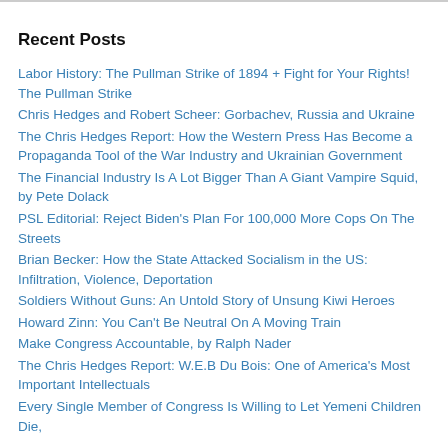Recent Posts
Labor History: The Pullman Strike of 1894 + Fight for Your Rights! The Pullman Strike
Chris Hedges and Robert Scheer: Gorbachev, Russia and Ukraine
The Chris Hedges Report: How the Western Press Has Become a Propaganda Tool of the War Industry and Ukrainian Government
The Financial Industry Is A Lot Bigger Than A Giant Vampire Squid, by Pete Dolack
PSL Editorial: Reject Biden's Plan For 100,000 More Cops On The Streets
Brian Becker: How the State Attacked Socialism in the US: Infiltration, Violence, Deportation
Soldiers Without Guns: An Untold Story of Unsung Kiwi Heroes
Howard Zinn: You Can't Be Neutral On A Moving Train
Make Congress Accountable, by Ralph Nader
The Chris Hedges Report: W.E.B Du Bois: One of America's Most Important Intellectuals
Every Single Member of Congress Is Willing to Let Yemeni Children Die,